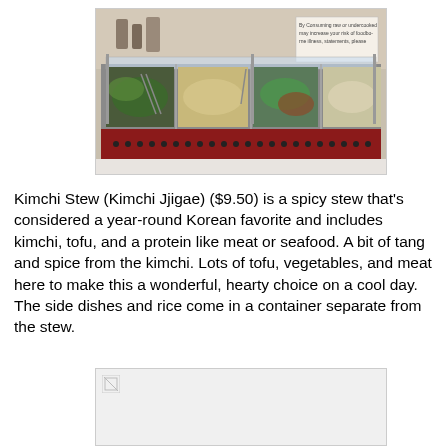[Figure (photo): Photo of a Korean restaurant food bar/buffet display with multiple metal trays of side dishes and foods under a sneeze guard, with a small sign visible in the upper right corner.]
Kimchi Stew (Kimchi Jjigae) ($9.50) is a spicy stew that's considered a year-round Korean favorite and includes kimchi, tofu, and a protein like meat or seafood. A bit of tang and spice from the kimchi. Lots of tofu, vegetables, and meat here to make this a wonderful, hearty choice on a cool day. The side dishes and rice come in a container separate from the stew.
[Figure (photo): A broken/missing image placeholder (second photo, not loaded).]